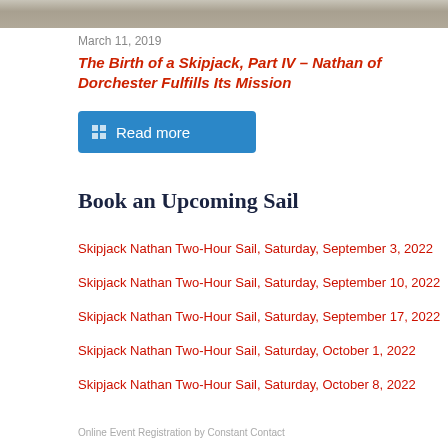[Figure (photo): Partial photo strip at top of page showing people, cropped]
March 11, 2019
The Birth of a Skipjack, Part IV – Nathan of Dorchester Fulfills Its Mission
Read more
Book an Upcoming Sail
Skipjack Nathan Two-Hour Sail, Saturday, September 3, 2022
Skipjack Nathan Two-Hour Sail, Saturday, September 10, 2022
Skipjack Nathan Two-Hour Sail, Saturday, September 17, 2022
Skipjack Nathan Two-Hour Sail, Saturday, October 1, 2022
Skipjack Nathan Two-Hour Sail, Saturday, October 8, 2022
Online Event Registration by Constant Contact